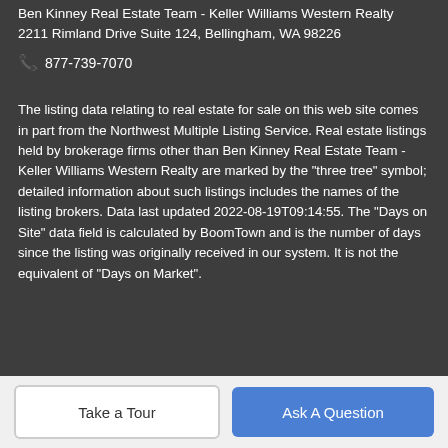Ben Kinney Real Estate Team - Keller Williams Western Realty
2211 Rimland Drive Suite 124, Bellingham, WA 98226
📞 877-739-7070
The listing data relating to real estate for sale on this web site comes in part from the Northwest Multiple Listing Service. Real estate listings held by brokerage firms other than Ben Kinney Real Estate Team - Keller Williams Western Realty are marked by the "three tree" symbol; detailed information about such listings includes the names of the listing brokers. Data last updated 2022-08-19T09:14:55. The "Days on Site" data field is calculated by BoomTown and is the number of days since the listing was originally received in our system. It is not the equivalent of "Days on Market".
Take a Tour
Ask A Question